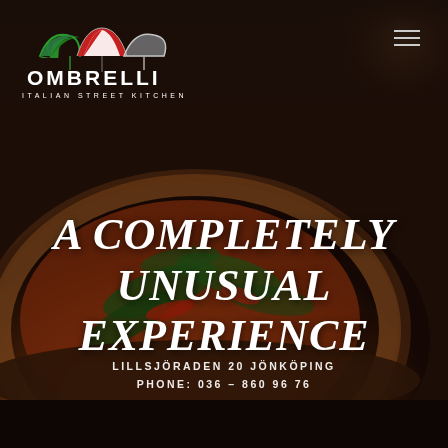[Figure (photo): Dark atmospheric background photo of a pizza with arugula and vegetables on a wooden board, with a hand reaching in from the top right corner]
[Figure (logo): Ombrelli Italian Street Kitchen logo with three umbrella icons in green, red, and white above the text OMBRELLI and subtitle ITALIAN STREET KITCHEN]
A COMPLETELY UNUSUAL EXPERIENCE
LILLSJÖRADEN 20 JÖNKÖPING
PHONE: 036 – 860 96 76